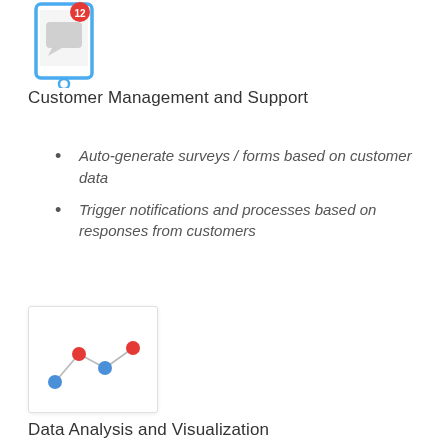[Figure (illustration): Phone/tablet icon with notification badge showing number 12, blue device outline]
Customer Management and Support
Auto-generate surveys / forms based on customer data
Trigger notifications and processes based on responses from customers
[Figure (illustration): Small line chart with blue and red dots connected by grey lines, inside a white card with shadow]
Data Analysis and Visualization